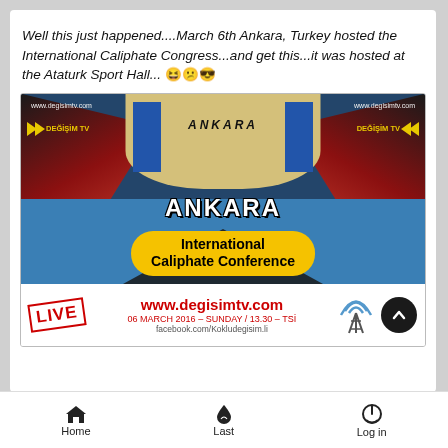Well this just happened....March 6th Ankara, Turkey hosted the International Caliphate Congress...and get this...it was hosted at the Ataturk Sport Hall... 😆😕😎
[Figure (screenshot): Screenshot of a promotional image for the Ankara International Caliphate Conference. Shows an arena/sports hall with red seating, a stage with blue floor, DEĞİŞİM TV logos on both sides, 'ANKARA' text on a backdrop, and a yellow pill-shaped banner reading 'ANKARA International Caliphate Conference'. Below is a live broadcast banner showing www.degisimtv.com, 06 MARCH 2016 - SUNDAY / 13.30 - TSİ, facebook.com/Kokludegisim.li, a LIVE badge, and antenna icon.]
Home   Last   Log in